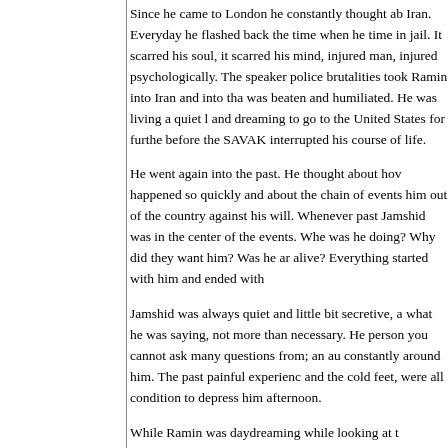Since he came to London he constantly thought about Iran. Everyday he flashed back the time when he was time in jail. It scarred his soul, it scarred his mind, injured man, injured psychologically. The speaker police brutalities took Ramin into Iran and into that was beaten and humiliated. He was living a quiet life and dreaming to go to the United States for further before the SAVAK interrupted his course of life.
He went again into the past. He thought about how happened so quickly and about the chain of events him out of the country against his will. Whenever past Jamshid was in the center of the events. Where was he doing? Why did they want him? Was he ar alive? Everything started with him and ended with
Jamshid was always quiet and little bit secretive, a what he was saying, not more than necessary. He person you cannot ask many questions from; an au constantly around him. The past painful experience and the cold feet, were all condition to depress him afternoon.
While Ramin was daydreaming while looking at t Jamshid's face appear from the fog behind the sp